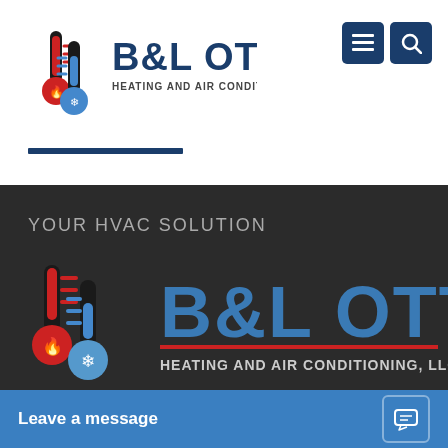[Figure (logo): B&L OTT Heating and Air Conditioning LLC logo with thermometer icons in header]
[Figure (logo): Navigation menu icon and search icon buttons in dark blue]
YOUR HVAC SOLUTION
[Figure (logo): Large B&L OTT Heating and Air Conditioning LLC logo on dark background with thermometer icons]
Leave a message